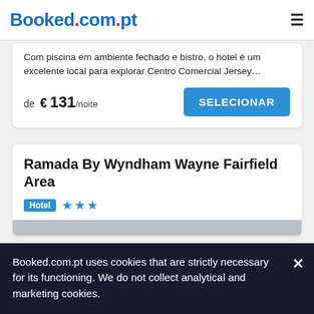Booked.com.pt
Com piscina em ambiente fechado e bistro, o hotel é um excelente local para explorar Centro Comercial Jersey…
de € 131/noite
SELECIONAR
Ramada By Wyndham Wayne Fairfield Area
Hotel ★★★
[Figure (photo): Hotel image carousel with left/right navigation arrows and placeholder image icon on grey background]
Booked.com.pt uses cookies that are strictly necessary for its functioning. We do not collect analytical and marketing cookies.